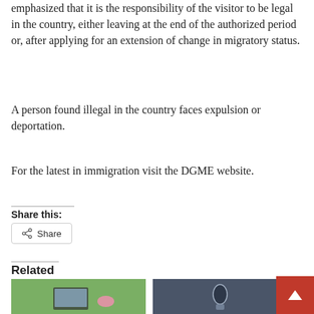emphasized that it is the responsibility of the visitor to be legal in the country, either leaving at the end of the authorized period or, after applying for an extension of change in migratory status.
A person found illegal in the country faces expulsion or deportation.
For the latest in immigration visit the DGME website.
Share this:
Share
Related
[Figure (photo): Outdoor scene with laptop by pool, pink flamingo float visible, green tropical background]
[Figure (photo): Person at desk with podcasting/recording equipment, microphone, dark background]